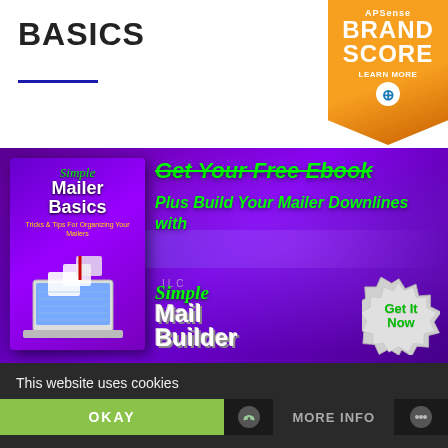BASICS
[Figure (illustration): Promotional banner for Simple Mailer Basics ebook and Simple Mail Builder. Purple gradient background with book cover on left showing 'Simple Mailer Basics' title with mailbox graphic. Right side shows text: 'Get Your Free Ebook', 'Plus Build Your Mailer Downlines with', 'Simple Mail Builder' with a 'Get It Now' starburst badge. APSense Brand Score badge in top right corner of page.]
This website uses cookies
OKAY
MORE INFO